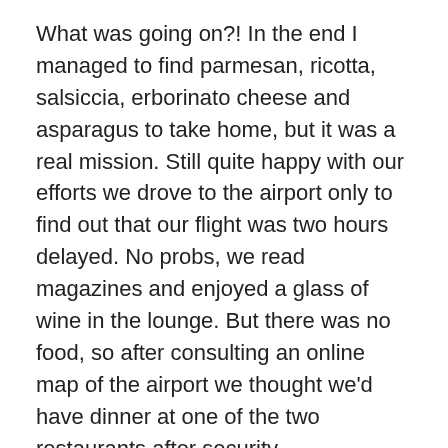What was going on?! In the end I managed to find parmesan, ricotta, salsiccia, erborinato cheese and asparagus to take home, but it was a real mission. Still quite happy with our efforts we drove to the airport only to find out that our flight was two hours delayed. No probs, we read magazines and enjoyed a glass of wine in the lounge. But there was no food, so after consulting an online map of the airport we thought we'd have dinner at one of the two restaurants after security.
Again, things back-fired. There was only one restaurant and one cafeteria after security but the restaurant was closed and the café didn't really sell anything edible apart from two scary looking sandwiches, ice cream and snacks so we had another glass of wine and some parmesan snacks for dinner. Now, it's almost funny how we could have such a bad food day in Italy of all places. But in the